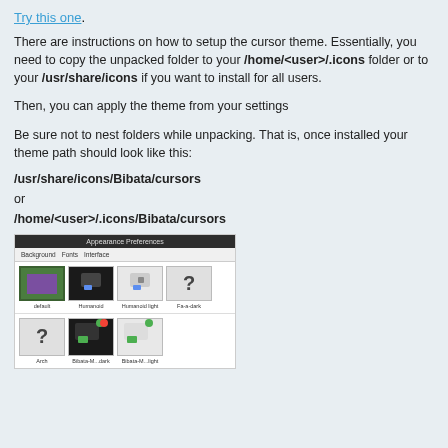Try this one.
There are instructions on how to setup the cursor theme. Essentially, you need to copy the unpacked folder to your /home/<user>/.icons folder or to your /usr/share/icons if you want to install for all users.
Then, you can apply the theme from your settings
Be sure not to nest folders while unpacking. That is, once installed your theme path should look like this:
/usr/share/icons/Bibata/cursors
or
/home/<user>/.icons/Bibata/cursors
[Figure (screenshot): Screenshot of Appearance Preferences dialog showing cursor theme selection with thumbnails including default, Humanoid, Humanoid light, Fa-a-dark options and a second row with additional themes.]